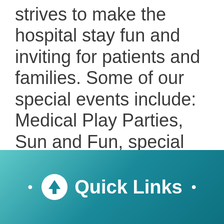strives to make the hospital stay fun and inviting for patients and families. Some of our special events include: Medical Play Parties, Sun and Fun, special visitors and holiday parties. Our staff provide a weekly theme where crafts and activities focus on that theme. You can
[Figure (other): Quick Links navigation button with upward arrow icon on teal gradient background, with decorative bullet dots on either side]